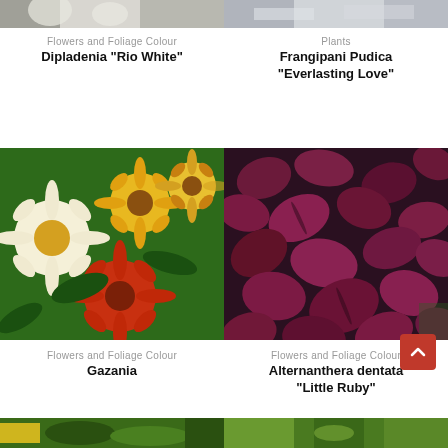[Figure (photo): Top-left partial image of Dipladenia plant with white flowers]
Flowers and Foliage Colour
Dipladenia “Rio White”
[Figure (photo): Top-right partial image of Frangipani plant]
Plants
Frangipani Pudica “Everlasting Love”
[Figure (photo): Middle-left photo of colorful Gazania flowers in yellow, orange, red and white]
Flowers and Foliage Colour
Gazania
[Figure (photo): Middle-right photo of Alternanthera dentata Little Ruby with dark purple-red leaves]
Flowers and Foliage Colour
Alternanthera dentata “Little Ruby”
[Figure (photo): Bottom-left partial image of green plants]
[Figure (photo): Bottom-right partial image of green leafy plants]